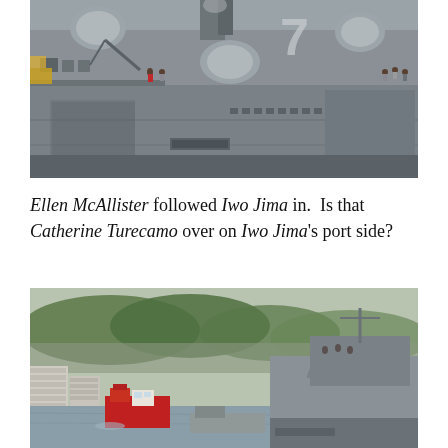[Figure (photo): Close-up photograph of a large naval vessel (USS Iwo Jima), showing gray hull structure, radar domes, superstructure with number 7 visible, crew members and equipment on deck.]
Ellen McAllister followed Iwo Jima in.  Is that Catherine Turecamo over on Iwo Jima's port side?
[Figure (photo): Photograph of ships in a harbor with a green tree-lined hillside in the background, showing a large naval vessel (USS Iwo Jima) and a red tugboat with buildings visible on the left shore.]